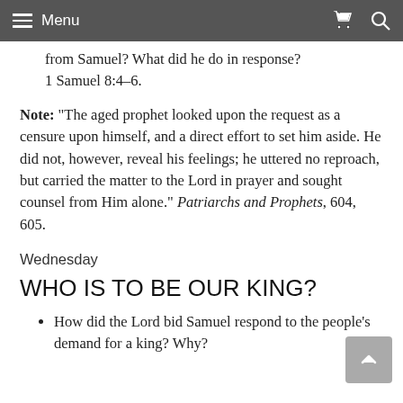Menu
from Samuel? What did he do in response? 1 Samuel 8:4–6.
Note: “The aged prophet looked upon the request as a censure upon himself, and a direct effort to set him aside. He did not, however, reveal his feelings; he uttered no reproach, but carried the matter to the Lord in prayer and sought counsel from Him alone.” Patriarchs and Prophets, 604, 605.
Wednesday
WHO IS TO BE OUR KING?
How did the Lord bid Samuel respond to the people’s demand for a king? Why?